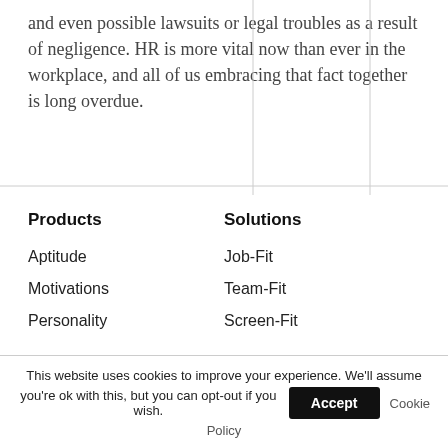and even possible lawsuits or legal troubles as a result of negligence. HR is more vital now than ever in the workplace, and all of us embracing that fact together is long overdue.
Products
Solutions
Aptitude
Job-Fit
Motivations
Team-Fit
Personality
Screen-Fit
This website uses cookies to improve your experience. We'll assume you're ok with this, but you can opt-out if you wish. Accept Cookie Policy